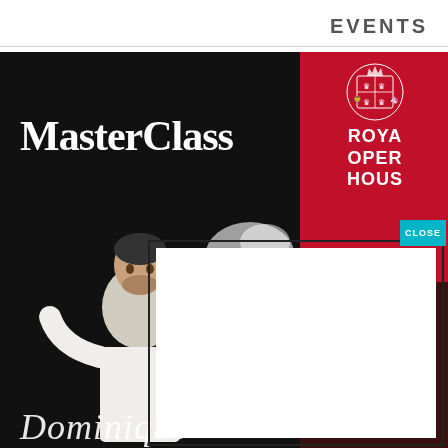EVENTS
[Figure (screenshot): MasterClass promotional image featuring a chef in white jacket tossing flour, with 'MasterClass' logo in white serif text on dark background, and Royal Opera House logo on red background. A modal popup with white interior and close button overlays the bottom portion of the image. Partially visible text 'Dominique' at bottom.]